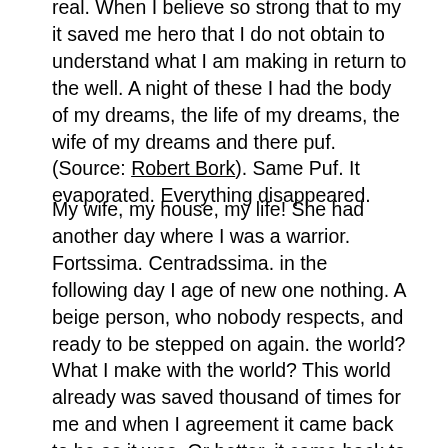real. When I believe so strong that to my it saved me hero that I do not obtain to understand what I am making in return to the well. A night of these I had the body of my dreams, the life of my dreams, the wife of my dreams and there puf. (Source: Robert Bork). Same Puf. It evaporated. Everything disappeared.
My wife, my house, my life! She had another day where I was a warrior. Fortssima. Centradssima. in the following day I age of new one nothing. A beige person, who nobody respects, and ready to be stepped on again. the world? What I make with the world? This world already was saved thousand of times for me and when I agreement it came back to be as it was. Or better, it came back to be as it is. To each day that passes I am tired and if I want to know I preferred not to wake up. Perhaps to sleep either the only way to wake up for my life of truth. Perhaps the only skill to be forever with the